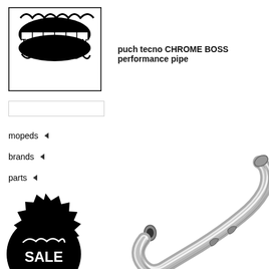[Figure (logo): Treatland.TV logo — smiling mouth with teeth, text TREATLAND.TV in center, black and white]
[Figure (other): Empty search input box]
mopeds ◄
brands ◄
parts ◄
[Figure (other): Black starburst badge with white text NEW!]
[Figure (other): Black circle badge with white text SALE and mouth/teeth graphic]
puch tecno CHROME BOSS performance pipe
[Figure (photo): Chrome performance exhaust pipe — shiny metallic curved pipe on white background]